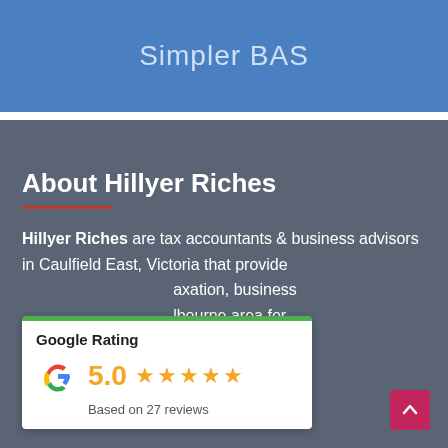Simpler BAS
About Hillyer Riches
Hillyer Riches are tax accountants & business advisors in Caulfield East, Victoria that provide [taxation, business] [lbourne area for] [estors and self] managed superannuation funds (SMSF).
[Figure (other): Google Rating widget showing 5.0 stars based on 27 reviews with Google G logo and green top border]